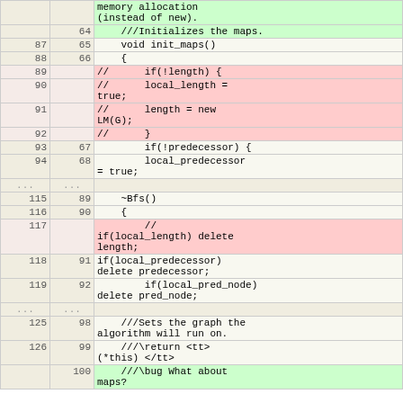| old | new | code |
| --- | --- | --- |
|  |  | memory allocation
(instead of new). |
|  | 64 | ///Initializes the maps. |
| 87 | 65 | void init_maps() |
| 88 | 66 | { |
| 89 |  | //      if(!length) { |
| 90 |  | //      local_length = true; |
| 91 |  | //      length = new LM(G); |
| 92 |  | //      } |
| 93 | 67 | if(!predecessor) { |
| 94 | 68 | local_predecessor = true; |
| ... | ... |  |
| 115 | 89 | ~Bfs() |
| 116 | 90 | { |
| 117 |  | //
if(local_length) delete length; |
| 118 | 91 | if(local_predecessor) delete predecessor; |
| 119 | 92 | if(local_pred_node) delete pred_node; |
| ... | ... |  |
| 125 | 98 | ///Sets the graph the algorithm will run on. |
| 126 | 99 | ///\return <tt>(*this) </tt> |
|  | 100 | ///\bug What about maps? |